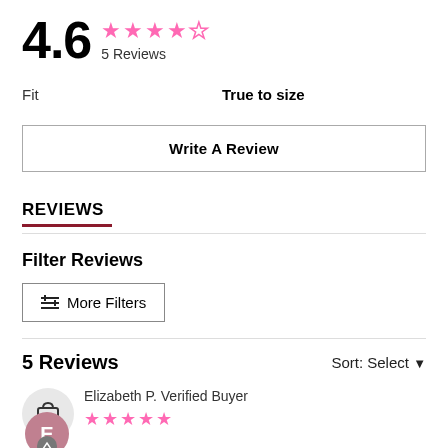4.6 ★★★★☆ 5 Reviews
Fit   True to size
Write A Review
REVIEWS
Filter Reviews
≡↕ More Filters
5 Reviews   Sort: Select ▼
Elizabeth P.  Verified Buyer